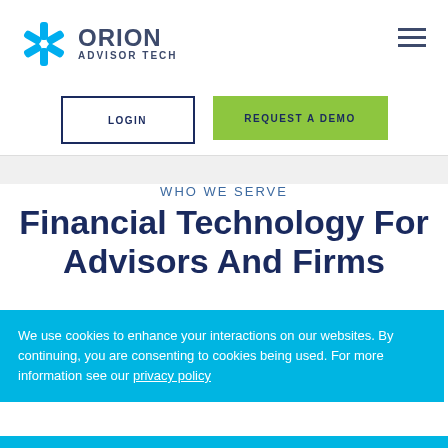[Figure (logo): Orion Advisor Tech logo with blue star-burst icon and dark blue text reading ORION ADVISOR TECH]
LOGIN
REQUEST A DEMO
WHO WE SERVE
Financial Technology For Advisors And Firms
We use cookies to enhance your interactions on our websites. By continuing, you are consenting to cookies being used. For more information see our privacy policy